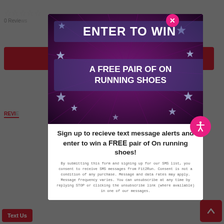[Figure (screenshot): Background of a website page showing star ratings, 0 Reviews text, a red button bar, a REVIEWS tab, and a Text Us button with a back-to-top arrow button]
[Figure (screenshot): Modal popup overlay with dark purple star-burst banner at top reading ENTER TO WIN and A FREE PAIR OF ON RUNNING SHOES, white content area below, close X button top right, accessibility icon right side]
ENTER TO WIN
A FREE PAIR OF ON RUNNING SHOES
Sign up to recieve text message alerts and enter to win a FREE pair of On running shoes!
By submitting this form and signing up for our SMS list, you consent to receive SMS messages from Fit2Run. Consent is not a condition of any purchase. Message and data rates may apply. Message frequency varies. You can unsubscribe at any time by replying STOP or clicking the unsubscribe link (where available) in one of our messages.